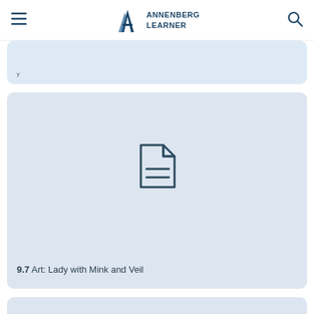ANNENBERG LEARNER
[Figure (screenshot): Partially visible card at top of page, light blue background]
[Figure (illustration): Card with document/file icon placeholder image and label '9.7 Art: Lady with Mink and Veil']
9.7 Art: Lady with Mink and Veil
[Figure (screenshot): Partially visible card at bottom of page, light blue background]